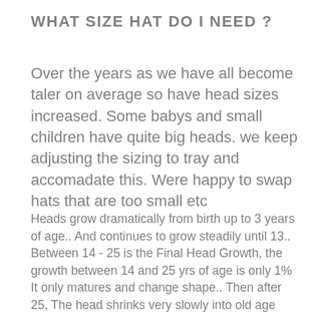WHAT SIZE HAT DO I NEED ?
Over the years as we have all become taler on average so have head sizes increased. Some babys and small children have quite big heads. we keep adjusting the sizing to tray and accomadate this. Were happy to swap hats that are too small etc
Heads grow dramatically from birth up to 3 years of age.. And continues to grow steadily until 13.. Between 14 - 25 is the Final Head Growth, the growth between 14 and 25 yrs of age is only 1% It only matures and change shape.. Then after 25, The head shrinks very slowly into old age